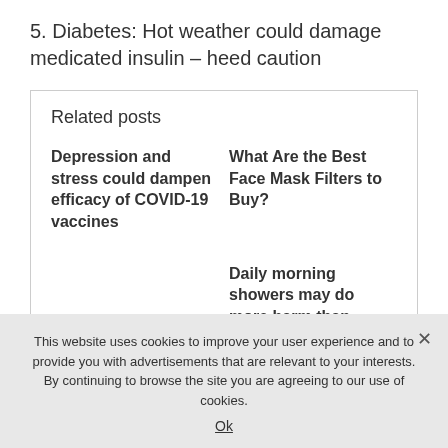5. Diabetes: Hot weather could damage medicated insulin – heed caution
Related posts
Depression and stress could dampen efficacy of COVID-19 vaccines
What Are the Best Face Mask Filters to Buy?
Daily morning showers may do more harm than
This website uses cookies to improve your user experience and to provide you with advertisements that are relevant to your interests. By continuing to browse the site you are agreeing to our use of cookies.
Ok